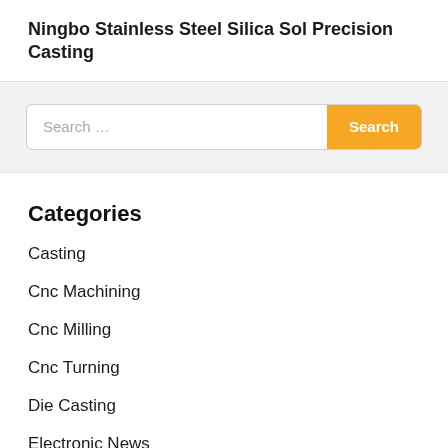Ningbo Stainless Steel Silica Sol Precision Casting
Search …
Categories
Casting
Cnc Machining
Cnc Milling
Cnc Turning
Die Casting
Electronic News